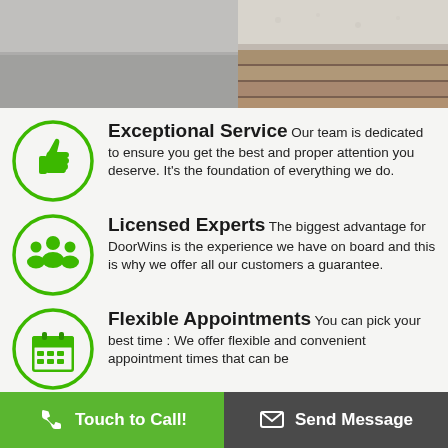[Figure (photo): Photo banner showing a door/wall surface with carpet and wood flooring details]
Exceptional Service Our team is dedicated to ensure you get the best and proper attention you deserve. It's the foundation of everything we do.
Licensed Experts The biggest advantage for DoorWins is the experience we have on board and this is why we offer all our customers a guarantee.
Flexible Appointments You can pick your best time : We offer flexible and convenient appointment times that can be
Touch to Call!   Send Message